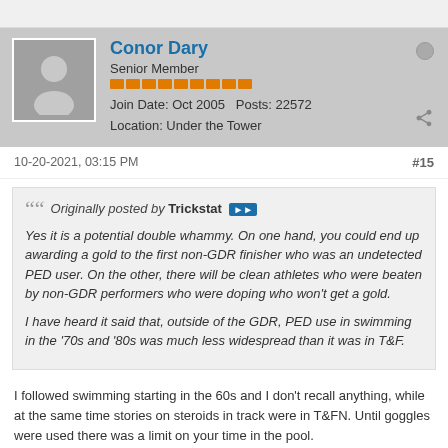Conor Dary
Senior Member
Join Date: Oct 2005   Posts: 22572
Location: Under the Tower
10-20-2021, 03:15 PM
#15
Originally posted by Trickstat
Yes it is a potential double whammy. On one hand, you could end up awarding a gold to the first non-GDR finisher who was an undetected PED user. On the other, there will be clean athletes who were beaten by non-GDR performers who were doping who won't get a gold.

I have heard it said that, outside of the GDR, PED use in swimming in the '70s and '80s was much less widespread than it was in T&F.
I followed swimming starting in the 60s and I don't recall anything, while at the same time stories on steroids in track were in T&FN. Until goggles were used there was a limit on your time in the pool.
I just don't see the IOC undoing it all and opening a big can of worms that few care about now.